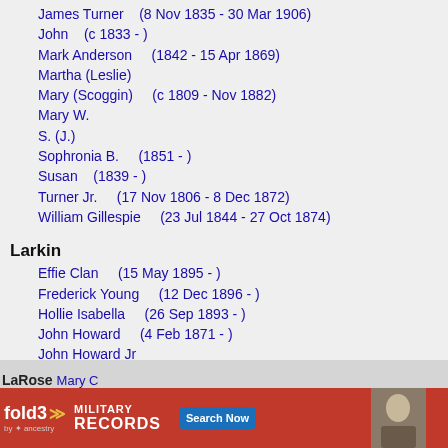James Turner    (8 Nov 1835 - 30 Mar 1906)
John    (c 1833 - )
Mark Anderson    (1842 - 15 Apr 1869)
Martha (Leslie)
Mary (Scoggin)    (c 1809 - Nov 1882)
Mary W.
S. (J.)
Sophronia B.    (1851 - )
Susan    (1839 - )
Turner Jr.    (17 Nov 1806 - 8 Dec 1872)
William Gillespie    (23 Jul 1844 - 27 Oct 1874)
Larkin
Effie Clan    (15 May 1895 - )
Frederick Young    (12 Dec 1896 - )
Hollie Isabella    (26 Sep 1893 - )
John Howard    (4 Feb 1871 - )
John Howard Jr
Mary Effie (Hutchinson)    (17 May 1874 - 13 Jun 1935)
Velma (Crenshaw)
LaRose
Mary C
[Figure (screenshot): fold3 by Ancestry advertisement banner for Military Records with Search Now button]